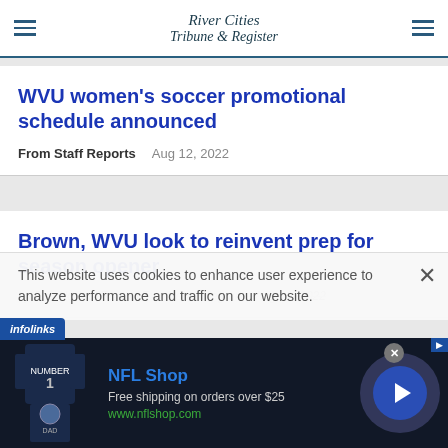River Cities Tribune & Register
WVU women's soccer promotional schedule announced
From Staff Reports   Aug 12, 2022
Brown, WVU look to reinvent prep for season opener
by Bob Hertzel For the Exponent Telegram   Aug 11, 2022
This website uses cookies to enhance user experience to analyze performance and traffic on our website.
[Figure (screenshot): NFL Shop advertisement banner showing a Dallas Cowboys jersey, with text 'NFL Shop', 'Free shipping on orders over $25', 'www.nflshop.com' and a play button]